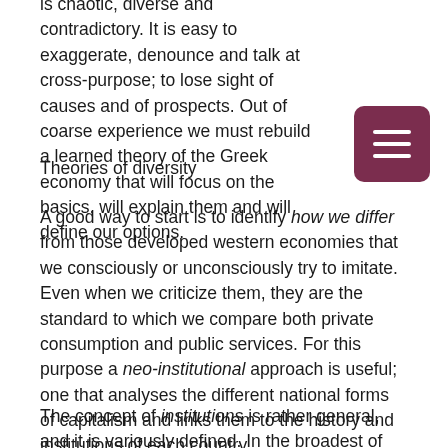is chaotic, diverse and contradictory. It is easy to exaggerate, denounce and talk at cross-purpose; to lose sight of causes and of prospects. Out of coarse experience we must rebuild a learned theory of the Greek economy that will focus on the basics, will explain them and will define our options.
Theories of diversity
A good way to start is to identify how we differ from those developed western economies that we consciously or unconsciously try to imitate. Even when we criticize them, they are the standard to which we compare both private consumption and public services. For this purpose a neo-institutional approach is useful; one that analyses the different national forms of capitalism and links them to the history and institutions of each country.
The concept of institutions is rather general, and it is variously defined. In the broadest of definitions, it includes